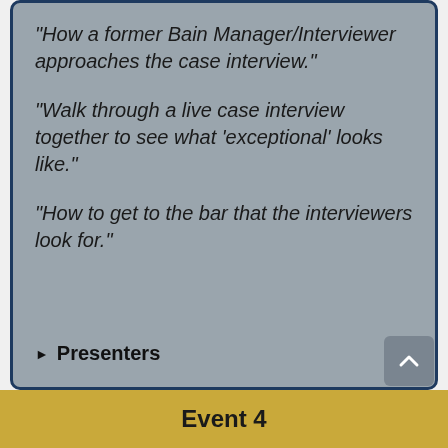“How a former Bain Manager/Interviewer approaches the case interview.”
“Walk through a live case interview together to see what ‘exceptional’ looks like.”
“How to get to the bar that the interviewers look for.”
▶ Presenters
Event 4